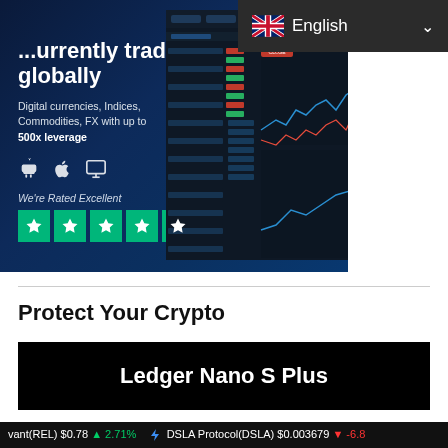English
[Figure (screenshot): Trading platform advertisement banner with dark blue background. Shows partial headline text 'globally' (cut off at top), subtext 'Digital currencies, Indices, Commodities, FX with up to 500x leverage', Android/Apple/desktop icons, 'We're Rated Excellent' with Trustpilot 4.5 stars, and a trading platform screenshot on the right showing price tables and charts.]
Protect Your Crypto
[Figure (screenshot): Ledger Nano S Plus product advertisement banner with black background showing white text 'Ledger Nano S Plus']
vant(REL) $0.78 ↑ 2.71%   DSLA Protocol(DSLA) $0.003679 ↓ -6.8...